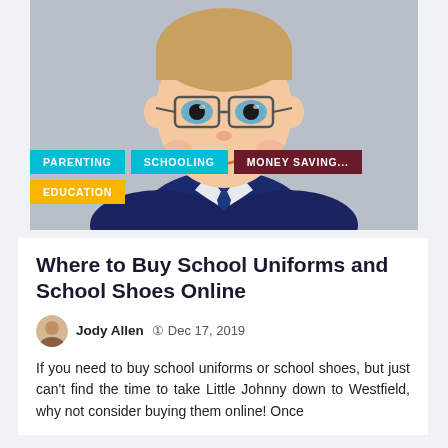[Figure (photo): Close-up photo of a smiling boy wearing glasses, a white collared shirt, blue tie, and dark navy blazer — dressed in school uniform]
PARENTING
SCHOOLING
MONEY SAVING...
EDUCATION
Where to Buy School Uniforms and School Shoes Online
Jody Allen  Dec 17, 2019
If you need to buy school uniforms or school shoes, but just can't find the time to take Little Johnny down to Westfield, why not consider buying them online! Once